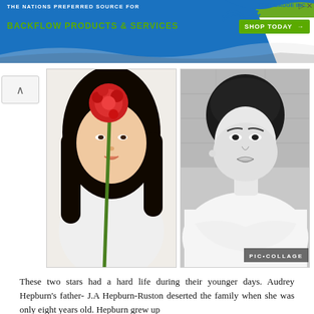[Figure (screenshot): Web page banner advertisement for Test Gauge Inc. with text 'THE NATIONS PREFERRED SOURCE FOR BACKFLOW PRODUCTS & SERVICES' and a 'SHOP TODAY' button, blue and green color scheme]
[Figure (photo): Two photos side by side: left is a color photo of an Asian young woman holding a red flower in front of her face; right is a black-and-white portrait photo of Audrey Hepburn in a white top with arms crossed, with 'PIC•COLLAGE' watermark in lower right]
These two stars had a hard life during their younger days. Audrey Hepburn's father- J.A Hepburn-Ruston deserted the family when she was only eight years old. Hepburn grew up